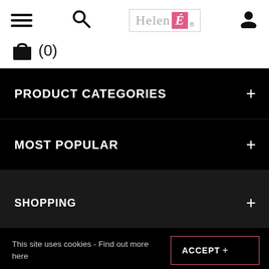[Figure (screenshot): Website header navigation bar with hamburger menu icon, search icon, Helen É logo, user icon, and shopping bag with cart count (0)]
PRODUCT CATEGORIES +
MOST POPULAR +
SHOPPING +
This site uses cookies -  Find out more here  ACCEPT